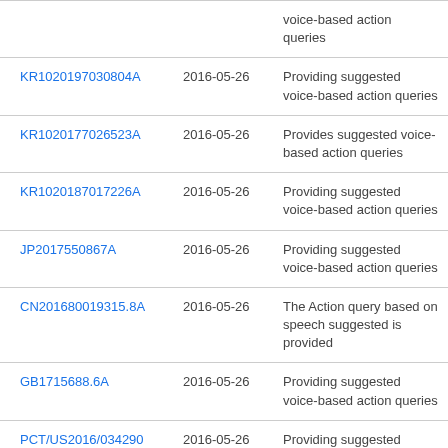| Patent/Application | Date | Title |
| --- | --- | --- |
|  |  | voice-based action queries |
| KR1020197030804A | 2016-05-26 | Providing suggested voice-based action queries |
| KR1020177026523A | 2016-05-26 | Provides suggested voice-based action queries |
| KR1020187017226A | 2016-05-26 | Providing suggested voice-based action queries |
| JP2017550867A | 2016-05-26 | Providing suggested voice-based action queries |
| CN201680019315.8A | 2016-05-26 | The Action query based on speech suggested is provided |
| GB1715688.6A | 2016-05-26 | Providing suggested voice-based action queries |
| PCT/US2016/034290 | 2016-05-26 | Providing suggested |